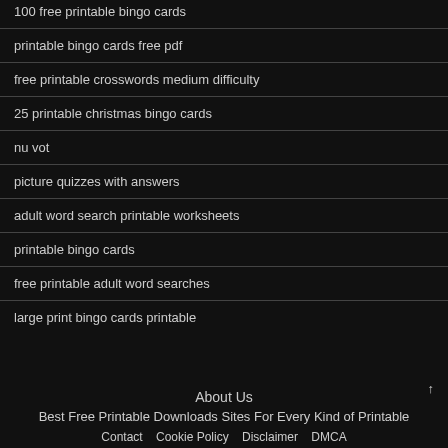100 free printable bingo cards
printable bingo cards free pdf
free printable crosswords medium difficulty
25 printable christmas bingo cards
nu vot
picture quizzes with answers
adult word search printable worksheets
printable bingo cards
free printable adult word searches
large print bingo cards printable
About Us
Best Free Printable Downloads Sites For Every Kind of Printable
Contact   Cookie Policy   Disclaimer   DMCA